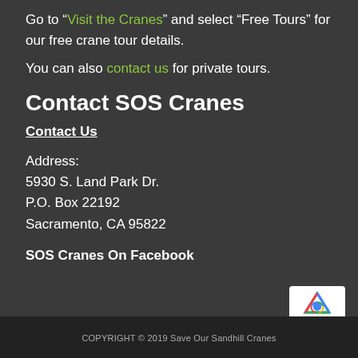Go to “Visit the Cranes” and select “Free Tours” for our free crane tour details.
You can also contact us for private tours.
Contact SOS Cranes
Contact Us
Address:
5930 S. Land Park Dr.
P.O. Box 22192
Sacramento, CA 95822
SOS Cranes On Facebook
COPYRIGHT © 2019 Save Our Sandhill Cranes